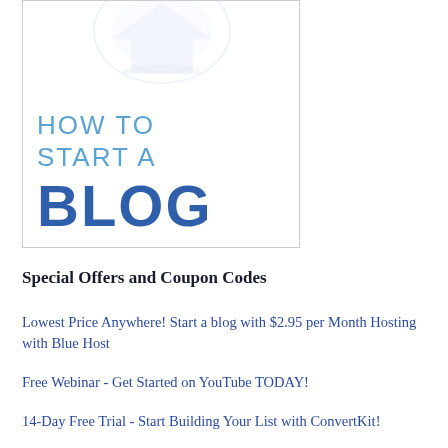[Figure (illustration): Book cover with light blue text 'HOW TO START A' and bold dark blue 'BLOG' text, with a faint graduation cap icon in background, inside a bordered rectangle.]
Special Offers and Coupon Codes
Lowest Price Anywhere! Start a blog with $2.95 per Month Hosting with Blue Host
Free Webinar - Get Started on YouTube TODAY!
14-Day Free Trial - Start Building Your List with ConvertKit!